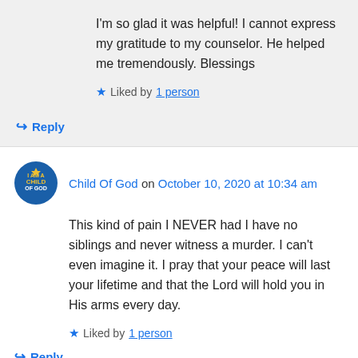I'm so glad it was helpful! I cannot express my gratitude to my counselor. He helped me tremendously. Blessings
Liked by 1 person
Reply
Child Of God on October 10, 2020 at 10:34 am
This kind of pain I NEVER had I have no siblings and never witness a murder. I can't even imagine it. I pray that your peace will last your lifetime and that the Lord will hold you in His arms every day.
Liked by 1 person
Reply